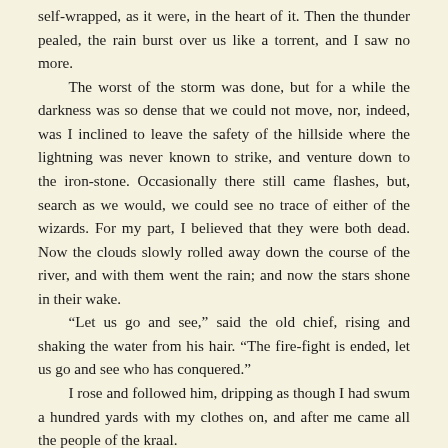self-wrapped, as it were, in the heart of it. Then the thunder pealed, the rain burst over us like a torrent, and I saw no more.

The worst of the storm was done, but for a while the darkness was so dense that we could not move, nor, indeed, was I inclined to leave the safety of the hillside where the lightning was never known to strike, and venture down to the iron-stone. Occasionally there still came flashes, but, search as we would, we could see no trace of either of the wizards. For my part, I believed that they were both dead. Now the clouds slowly rolled away down the course of the river, and with them went the rain; and now the stars shone in their wake.

“Let us go and see,” said the old chief, rising and shaking the water from his hair. “The fire-fight is ended, let us go and see who has conquered.”

I rose and followed him, dripping as though I had swum a hundred yards with my clothes on, and after me came all the people of the kraal.

We reached the spot; even in that light I could see where the iron-stone had been split and fused by the thunderbolts. While I was staring about